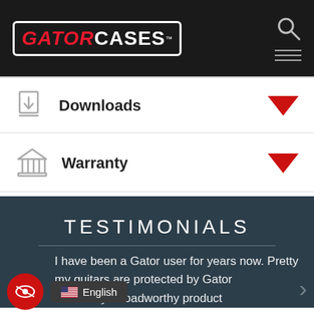[Figure (logo): Gator Cases logo with red 'GATOR' and white 'CASES' text inside a white-bordered rectangle on dark background, with search and hamburger menu icons on the right]
Downloads
Warranty
TESTIMONIALS
I have been a Gator user for years now. Pretty [my] guitars are protected by Gator [and it has] been truly a roadworthy product